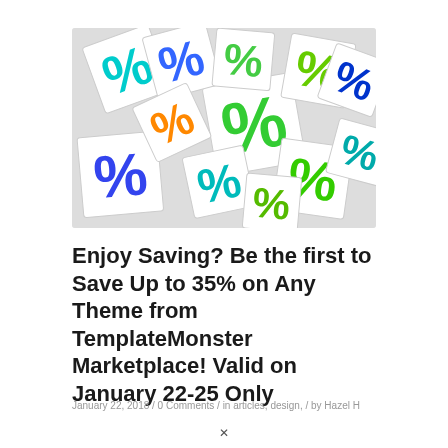[Figure (illustration): A pile of white square tiles each containing colorful percent signs (%) in green, blue, teal, and orange colors, scattered and overlapping each other.]
Enjoy Saving? Be the first to Save Up to 35% on Any Theme from TemplateMonster Marketplace! Valid on January 22-25 Only
January 22, 2018 / 0 Comments / in articles, design, / by Hazel H